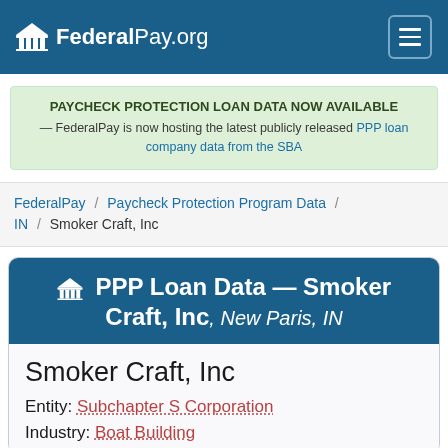FederalPay.org
PAYCHECK PROTECTION LOAN DATA NOW AVAILABLE — FederalPay is now hosting the latest publicly released PPP loan company data from the SBA
FederalPay / Paycheck Protection Program Data / IN / Smoker Craft, Inc
PPP Loan Data — Smoker Craft, Inc, New Paris, IN
Smoker Craft, Inc
Entity: Subchapter S Corporation
Industry: Boat Building